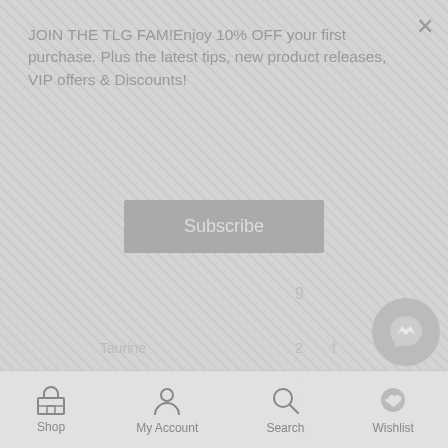JOIN THE TLG FAM!Enjoy 10% OFF your first purchase. Plus the latest tips, new product releases, VIP offers & Discounts!
Subscribe
9
Taurine
2 †
2
5
m
g
l-Arginine
1 †
Shop  My Account  Search  Wishlist